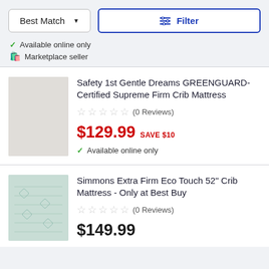[Figure (screenshot): Best Match sort dropdown button]
[Figure (screenshot): Filter button with icon]
Available online only
Marketplace seller
Safety 1st Gentle Dreams GREENGUARD-Certified Supreme Firm Crib Mattress
(0 Reviews)
$129.99  SAVE $10
Available online only
Simmons Extra Firm Eco Touch 52" Crib Mattress - Only at Best Buy
(0 Reviews)
$149.99